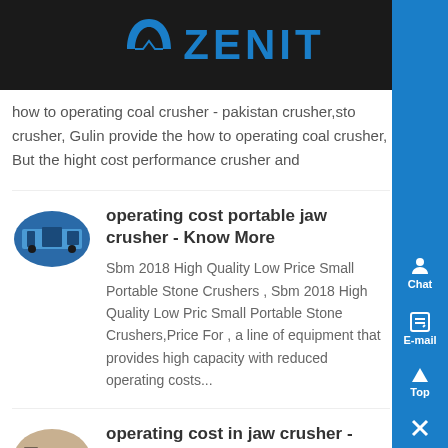[Figure (logo): Zenit company logo with arch icon on dark background header bar]
how to operating coal crusher - pakistan crusher,sto crusher, Gulin provide the how to operating coal crusher, But the hight cost performance crusher and
operating cost portable jaw crusher - Know More
Sbm 2018 High Quality Low Price Small Portable Stone Crushers , Sbm 2018 High Quality Low Price Small Portable Stone Crushers,Price For , a line of equipment that provides high capacity with reduced operating costs...
operating cost in jaw crusher - Know More